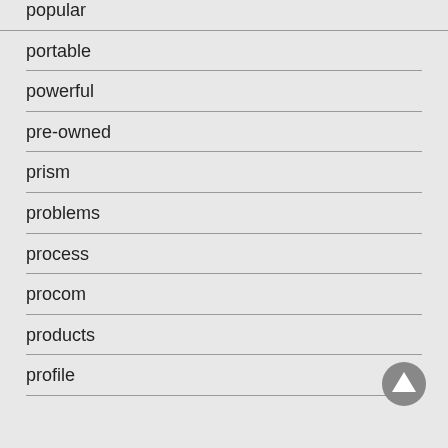popular
portable
powerful
pre-owned
prism
problems
process
procom
products
profile